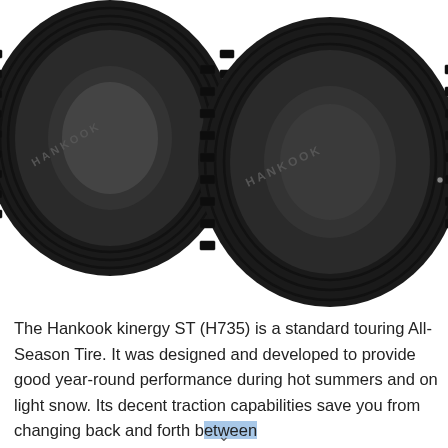[Figure (photo): Two Hankook kinergy ST (H735) tires displayed side by side on a white background. The tires are black with visible tread patterns and the Hankook brand name embossed on the sidewalls.]
The Hankook kinergy ST (H735) is a standard touring All-Season Tire. It was designed and developed to provide good year-round performance during hot summers and on light snow. Its decent traction capabilities save you from changing back and forth between